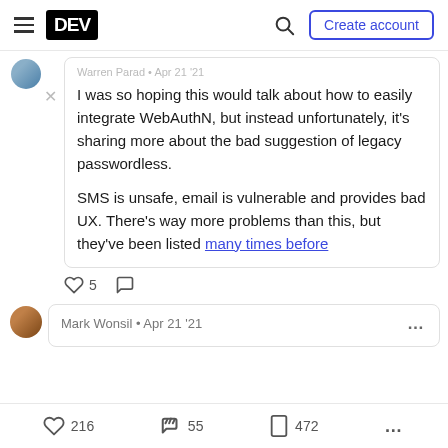DEV — Create account
Warren Parad · Apr 21 '21
I was so hoping this would talk about how to easily integrate WebAuthN, but instead unfortunately, it's sharing more about the bad suggestion of legacy passwordless.

SMS is unsafe, email is vulnerable and provides bad UX. There's way more problems than this, but they've been listed many times before
♡ 5  ○
Mark Wonsil · Apr 21 '21
♡ 216   55   ⬚ 472   ...